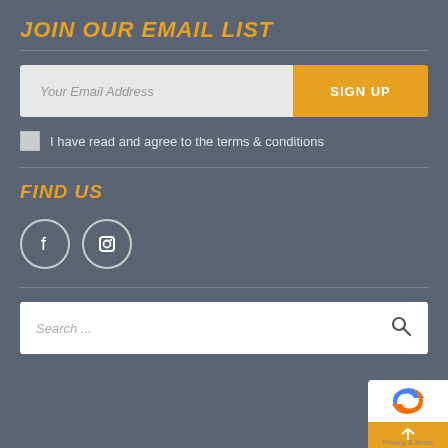JOIN OUR EMAIL LIST
Your Email Address
SIGN UP
I have read and agree to the terms & conditions
FIND US
[Figure (illustration): Facebook and Instagram social media icons in circular outlines]
Search ...
[Figure (logo): reCAPTCHA logo with back-to-top arrow button in bottom right corner]